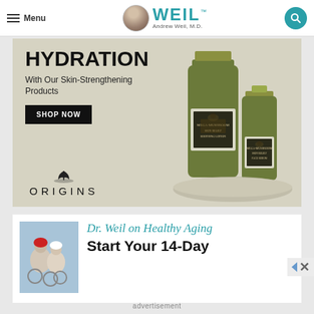Menu | WEIL Andrew Weil, M.D.
[Figure (photo): Origins skincare advertisement showing green hydration bottles with text HYDRATION, With Our Skin-Strengthening Products, SHOP NOW button, and Origins logo with tree icon]
[Figure (photo): Weil Healthy Aging advertisement card with photo of couple on bicycles and text Dr. Weil on Healthy Aging - Start Your 14-Day]
advertisement